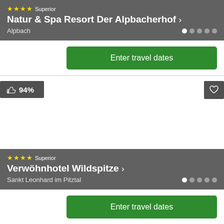[Figure (screenshot): Hotel card for Natur & Spa Resort Der Alpbacherhof, 4-star Superior, Alpbach, with dot indicators]
Enter travel dates
94%
[Figure (screenshot): Hotel card for Verwöhnhotel Wildspitze, 4-star Superior, Sankt Leonhard im Pitztal, with dot indicators]
Enter travel dates